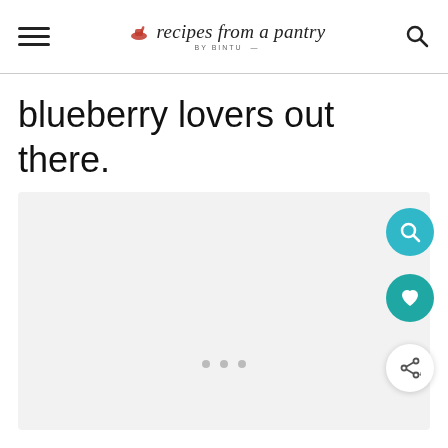recipes from a pantry BY BINTU
blueberry lovers out there.
[Figure (photo): Image placeholder area showing a light grey rectangle, with three small grey dots indicating loading, and three floating action buttons on the right side: a teal search button, a teal heart/favorite button, and a white share button.]